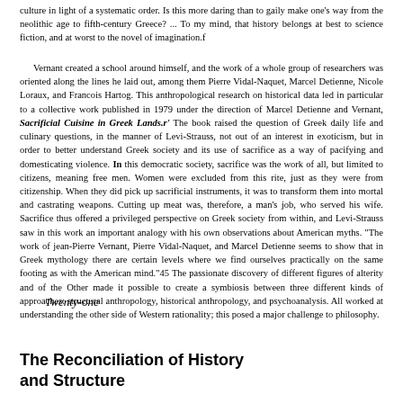culture in light of a systematic order. Is this more daring than to gaily make one's way from the neolithic age to fifth-century Greece? ... To my mind, that history belongs at best to science fiction, and at worst to the novel of imagination.f
Vernant created a school around himself, and the work of a whole group of researchers was oriented along the lines he laid out, among them Pierre Vidal-Naquet, Marcel Detienne, Nicole Loraux, and Francois Hartog. This anthropological research on historical data led in particular to a collective work published in 1979 under the direction of Marcel Detienne and Vernant, Sacrificial Cuisine in Greek Lands.r' The book raised the question of Greek daily life and culinary questions, in the manner of Levi-Strauss, not out of an interest in exoticism, but in order to better understand Greek society and its use of sacrifice as a way of pacifying and domesticating violence. In this democratic society, sacrifice was the work of all, but limited to citizens, meaning free men. Women were excluded from this rite, just as they were from citizenship. When they did pick up sacrificial instruments, it was to transform them into mortal and castrating weapons. Cutting up meat was, therefore, a man's job, who served his wife. Sacrifice thus offered a privileged perspective on Greek society from within, and Levi-Strauss saw in this work an important analogy with his own observations about American myths. "The work of jean-Pierre Vernant, Pierre Vidal-Naquet, and Marcel Detienne seems to show that in Greek mythology there are certain levels where we find ourselves practically on the same footing as with the American mind."45 The passionate discovery of different figures of alterity and of the Other made it possible to create a symbiosis between three different kinds of approaches: structural anthropology, historical anthropology, and psychoanalysis. All worked at understanding the other side of Western rationality; this posed a major challenge to philosophy.
Twenty-one
The Reconciliation of History and Structure